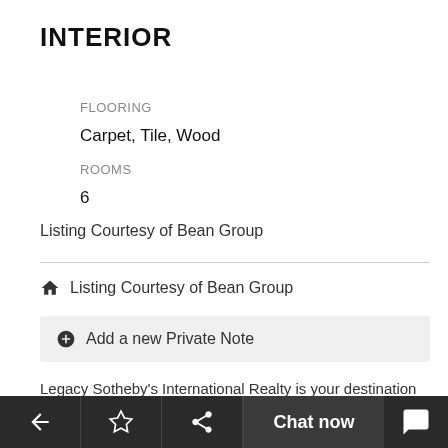INTERIOR
FLOORING
Carpet, Tile, Wood
ROOMS
6
Listing Courtesy of Bean Group
Listing Courtesy of Bean Group
Add a new Private Note
Legacy Sotheby's International Realty is your destination for luxury real estate listings. This property for Sale at Lot 8-AA Intrepid Drive, Brunswick, Maine 04011 United States is a Single